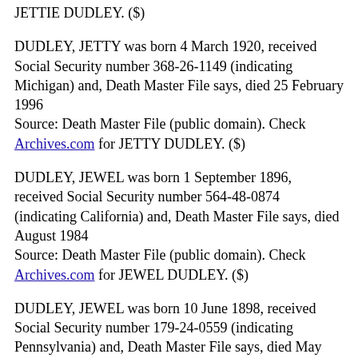JETTIE DUDLEY. ($)
DUDLEY, JETTY was born 4 March 1920, received Social Security number 368-26-1149 (indicating Michigan) and, Death Master File says, died 25 February 1996
Source: Death Master File (public domain). Check Archives.com for JETTY DUDLEY. ($)
DUDLEY, JEWEL was born 1 September 1896, received Social Security number 564-48-0874 (indicating California) and, Death Master File says, died August 1984
Source: Death Master File (public domain). Check Archives.com for JEWEL DUDLEY. ($)
DUDLEY, JEWEL was born 10 June 1898, received Social Security number 179-24-0559 (indicating Pennsylvania) and, Death Master File says, died May 1984
Source: Death Master File (public domain). Check